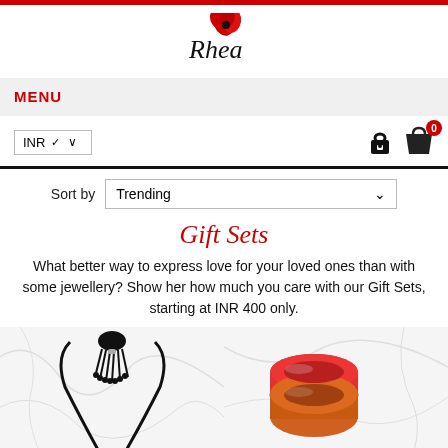[Figure (logo): Rhea brand logo with red poppy flower and script text 'Rhea']
MENU
INR ∨  [lock icon] [bag icon with 0]
Sort by   Trending ∨
Gift Sets
What better way to express love for your loved ones than with some jewellery? Show her how much you care with our Gift Sets, starting at INR 400 only.
[Figure (photo): Black beaded tassel necklace on a marble background]
[Figure (photo): Orange and red stacked rings on a marble background]